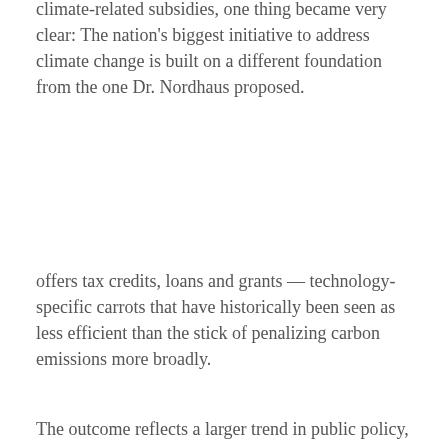climate-related subsidies, one thing became very clear: The nation's biggest initiative to address climate change is built on a different foundation from the one Dr. Nordhaus proposed.
offers tax credits, loans and grants — technology-specific carrots that have historically been seen as less efficient than the stick of penalizing carbon emissions more broadly.
The outcome reflects a larger trend in public policy, one that is prompting economists to ponder why the profession was so focused on a solution that ultimately went nowhere in Congress — and how economists could be more useful as the damage from extreme weather mounts.